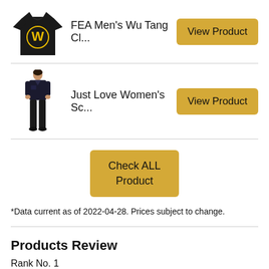[Figure (photo): Black Wu Tang Clan t-shirt product image]
FEA Men's Wu Tang Cl...
View Product
[Figure (photo): Just Love Women's scrubs outfit product image]
Just Love Women's Sc...
View Product
Check ALL Product
*Data current as of 2022-04-28. Prices subject to change.
Products Review
Rank No. 1